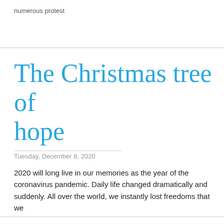numerous protest
The Christmas tree of hope
Tuesday, December 8, 2020
2020 will long live in our memories as the year of the coronavirus pandemic. Daily life changed dramatically and suddenly. All over the world, we instantly lost freedoms that we